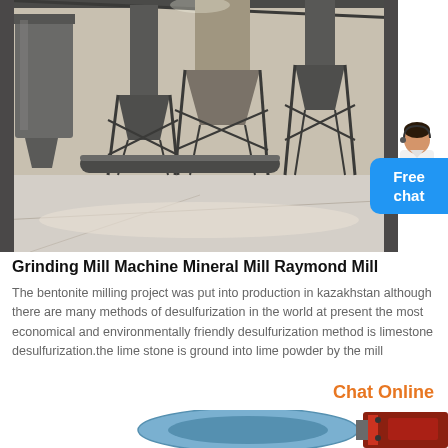[Figure (photo): Industrial grinding mill facility interior showing large metal silos, hopper structures, conveyor systems and industrial equipment in a warehouse setting]
Grinding Mill Machine Mineral Mill Raymond Mill
The bentonite milling project was put into production in kazakhstan although there are many methods of desulfurization in the world at present the most economical and environmentally friendly desulfurization method is limestone desulfurization.the lime stone is ground into lime powder by the mill
Chat Online
[Figure (illustration): Partial illustration of a grinding mill machine, showing cartoon-style technical drawing of a Raymond mill]